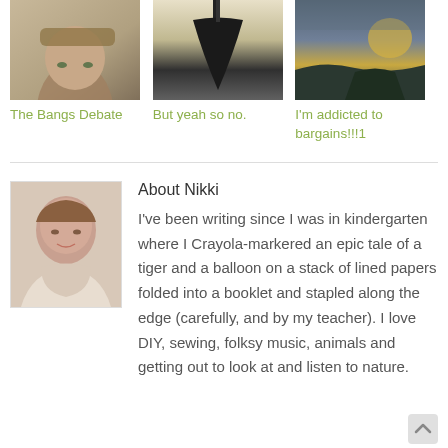[Figure (photo): Thumbnail photo of a person with bangs]
The Bangs Debate
[Figure (photo): Silhouette of a tree air freshener hanging from a car mirror]
But yeah so no.
[Figure (photo): Sky with clouds and sunlight]
I'm addicted to bargains!!!1
[Figure (photo): Portrait photo of Nikki, a woman with reddish-brown hair smiling]
About Nikki
I've been writing since I was in kindergarten where I Crayola-markered an epic tale of a tiger and a balloon on a stack of lined papers folded into a booklet and stapled along the edge (carefully, and by my teacher). I love DIY, sewing, folksy music, animals and getting out to look at and listen to nature.